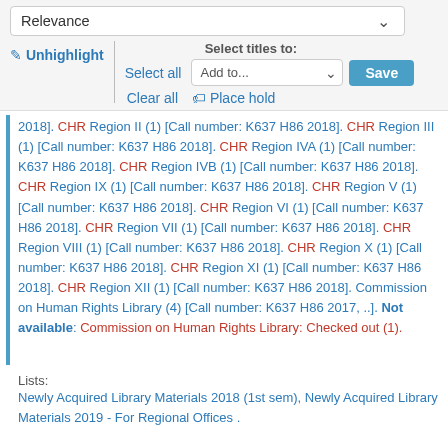Relevance
Unhighlight | Select titles to: Select all Add to... Save Clear all Place hold
2018]. CHR Region II (1) [Call number: K637 H86 2018]. CHR Region III (1) [Call number: K637 H86 2018]. CHR Region IVA (1) [Call number: K637 H86 2018]. CHR Region IVB (1) [Call number: K637 H86 2018]. CHR Region IX (1) [Call number: K637 H86 2018]. CHR Region V (1) [Call number: K637 H86 2018]. CHR Region VI (1) [Call number: K637 H86 2018]. CHR Region VII (1) [Call number: K637 H86 2018]. CHR Region VIII (1) [Call number: K637 H86 2018]. CHR Region X (1) [Call number: K637 H86 2018]. CHR Region XI (1) [Call number: K637 H86 2018]. CHR Region XII (1) [Call number: K637 H86 2018]. Commission on Human Rights Library (4) [Call number: K637 H86 2017, ..]. Not available: Commission on Human Rights Library: Checked out (1).
Lists:
Newly Acquired Library Materials 2018 (1st sem), Newly Acquired Library Materials 2019 - For Regional Offices .